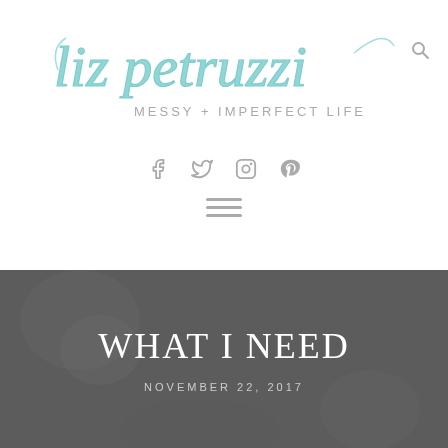[Figure (logo): Liz Petruzzi - Messy + Imperfect Life blog logo in teal/mint script with subtitle in gray sans-serif capital letters, with a search icon to the right]
[Figure (infographic): Social media icons: Facebook, Twitter, Instagram, Pinterest in gray]
[Figure (infographic): Hamburger menu icon (three horizontal lines) in gray]
WHAT I NEED
NOVEMBER 22, 2017